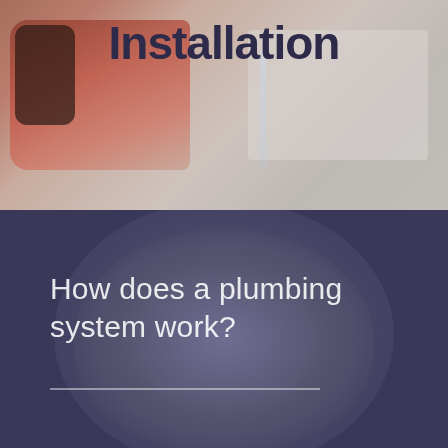[Figure (photo): Background photo of plumbing tools (red power drill/tool) with water stream, overlaid with title text 'Installation' on a muted warm-grey background]
Installation
[Figure (photo): Dark navy/purple background with a blurred circular blob texture (possibly a pipe cross-section or fiber material), overlaid with heading text and a horizontal divider line]
How does a plumbing system work?